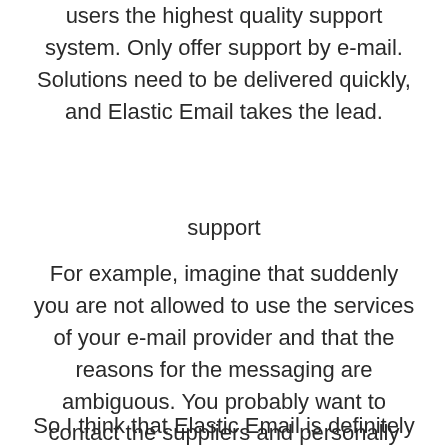users the highest quality support system. Only offer support by e-mail. Solutions need to be delivered quickly, and Elastic Email takes the lead.
support
For example, imagine that suddenly you are not allowed to use the services of your e-mail provider and that the reasons for the messaging are ambiguous. You probably want to contact the suppliers and personally explain the possible misunderstanding.
So I think that Elastic Email is definitely